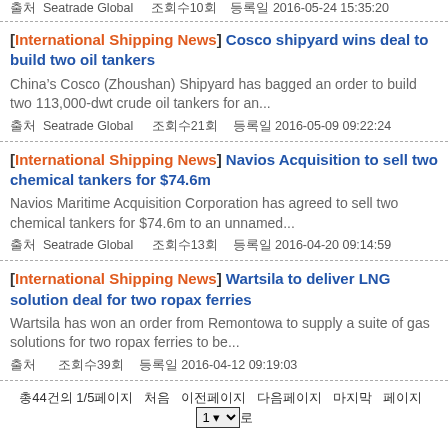출처 Seatrade Global   조회수10회   등록일 2016-05-24 15:35:20
[International Shipping News] Cosco shipyard wins deal to build two oil tankers — China&rsquo;s Cosco (Zhoushan) Shipyard has bagged an order to build two 113,000-dwt crude oil tankers for an... — 출처 Seatrade Global 조회수21회 등록일 2016-05-09 09:22:24
[International Shipping News] Navios Acquisition to sell two chemical tankers for $74.6m — Navios Maritime Acquisition Corporation has agreed to sell two chemical tankers for $74.6m to an unnamed... — 출처 Seatrade Global 조회수13회 등록일 2016-04-20 09:14:59
[International Shipping News] Wartsila to deliver LNG solution deal for two ropax ferries — Wartsila has won an order from Remontowa to supply a suite of gas solutions for two ropax ferries to be... — 출처 조회수39회 등록일 2016-04-12 09:19:03
총44건의 1/5페이지 처음 이전페이지 다음페이지 마지막 페이지 1 ▼ 로